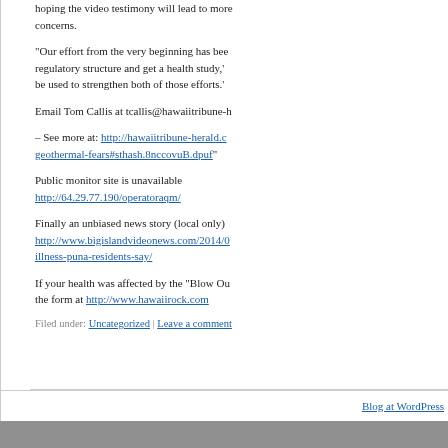hoping the video testimony will lead to more concerns.
“Our effort from the very beginning has been regulatory structure and get a health study,’ be used to strengthen both of those efforts.’
Email Tom Callis at tcallis@hawaiitribune-h
– See more at: http://hawaiitribune-herald.c geothermal-fears#sthash.8nccovuB.dpuf”
Public monitor site is unavailable
http://64.29.77.190/operatoraqm/
Finally an unbiased news story (local only)
http://www.bigislandvideonews.com/2014/0 illness-puna-residents-say/
If your health was affected by the “Blow Ou the form at http://www.hawaiirock.com
Filed under: Uncategorized | Leave a comment